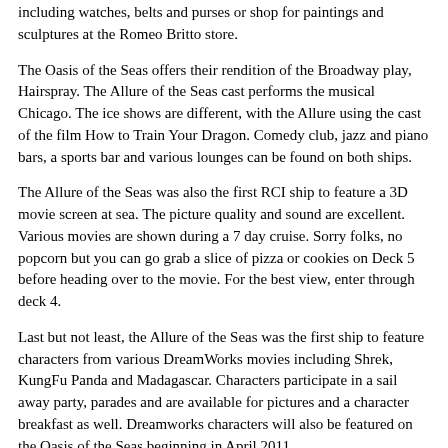including watches, belts and purses or shop for paintings and sculptures at the Romeo Britto store.
The Oasis of the Seas offers their rendition of the Broadway play, Hairspray. The Allure of the Seas cast performs the musical Chicago. The ice shows are different, with the Allure using the cast of the film How to Train Your Dragon. Comedy club, jazz and piano bars, a sports bar and various lounges can be found on both ships.
The Allure of the Seas was also the first RCI ship to feature a 3D movie screen at sea. The picture quality and sound are excellent. Various movies are shown during a 7 day cruise. Sorry folks, no popcorn but you can go grab a slice of pizza or cookies on Deck 5 before heading over to the movie. For the best view, enter through deck 4.
Last but not least, the Allure of the Seas was the first ship to feature characters from various DreamWorks movies including Shrek, KungFu Panda and Madagascar. Characters participate in a sail away party, parades and are available for pictures and a character breakfast as well. Dreamworks characters will also be featured on the Oasis of the Seas beginning in April 2011.
So much to do, so little time! You'll never find so many outstanding dining, snacking, noshing, nibbling, grazing and